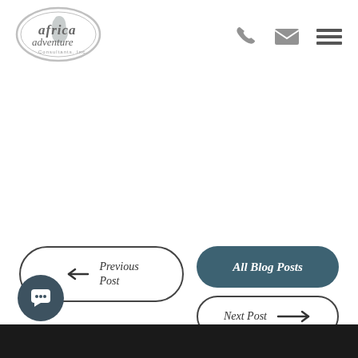[Figure (logo): Africa Adventure Consultants Inc. logo — oval shaped with text and map silhouette]
[Figure (infographic): Navigation icons: phone handset, envelope/mail, hamburger menu — three icons top right]
[Figure (infographic): Previous Post button with left arrow, All Blog Posts button (dark teal filled), Next Post button with right arrow]
[Figure (infographic): Chat bubble icon button in dark teal circle at bottom left]